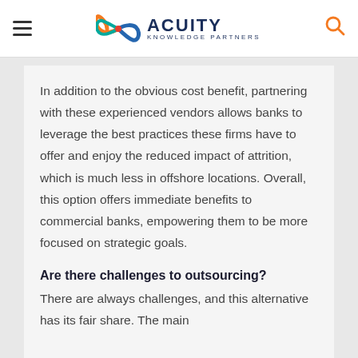ACUITY KNOWLEDGE PARTNERS
In addition to the obvious cost benefit, partnering with these experienced vendors allows banks to leverage the best practices these firms have to offer and enjoy the reduced impact of attrition, which is much less in offshore locations. Overall, this option offers immediate benefits to commercial banks, empowering them to be more focused on strategic goals.
Are there challenges to outsourcing?
There are always challenges, and this alternative has its fair share. The main